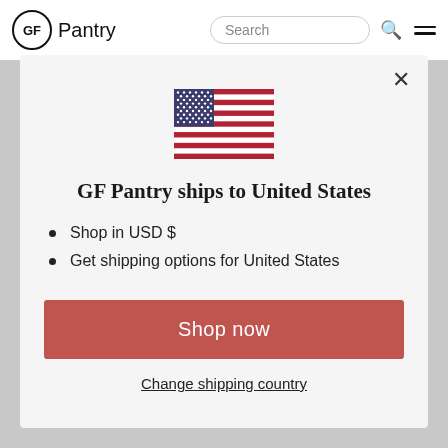GF Pantry
[Figure (screenshot): US flag SVG illustration]
GF Pantry ships to United States
Shop in USD $
Get shipping options for United States
Shop now
Change shipping country